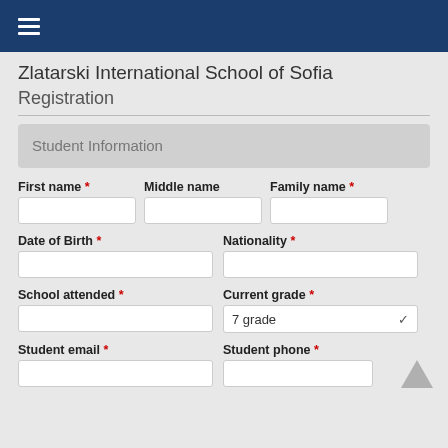☰
Zlatarski International School of Sofia
Registration
Student Information
First name * | Middle name | Family name *
Date of Birth * | Nationality *
School attended * | Current grade * (7 grade)
Student email * | Student phone *